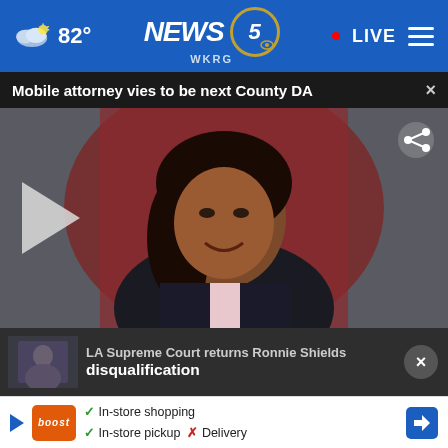[Figure (screenshot): WKRG News 5 navigation bar with weather 82 degrees, NEWS 5 WKRG logo, LIVE button and hamburger menu on blue background]
Mobile attorney vies to be next County DA  ×
[Figure (photo): Video thumbnail of a smiling woman in a dark blazer with pink shirt in front of a red backdrop, with a play button on the left and share button top right]
LA Supreme Court overturns Ronnie Shields disqualification
✓ In-store shopping  ✓ In-store pickup  ✗ Delivery